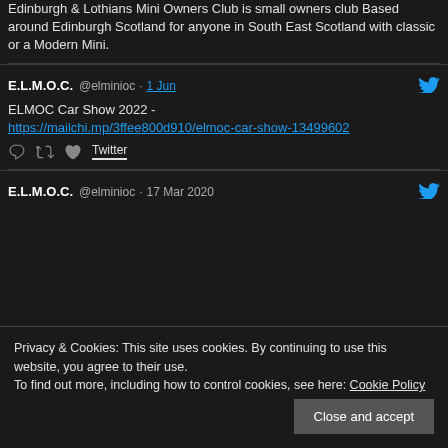Edinburgh & Lothians Mini Owners Club is small owners club Based around Edinburgh Scotland for anyone in South East Scotland with classic or a Modern Mini.
E.L.M.O.C. @elminioc · 1 Jun
ELMOC Car Show 2022 - https://mailchi.mp/3ffee800d910/elmoc-car-show-13499602
E.L.M.O.C. @elminioc · 17 Mar 2020
Privacy & Cookies: This site uses cookies. By continuing to use this website, you agree to their use.
To find out more, including how to control cookies, see here: Cookie Policy